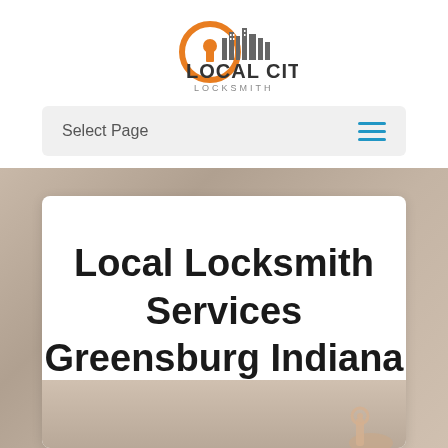[Figure (logo): Local City Locksmith logo — orange circle with keyhole, city skyline silhouette in gray, text 'LOCAL CITY' in dark gray bold with 'LOCKSMITH' below in smaller gray letters]
Select Page
Local Locksmith Services Greensburg Indiana
[Figure (photo): Partial view of a hand holding a key against a blurred brownish background]